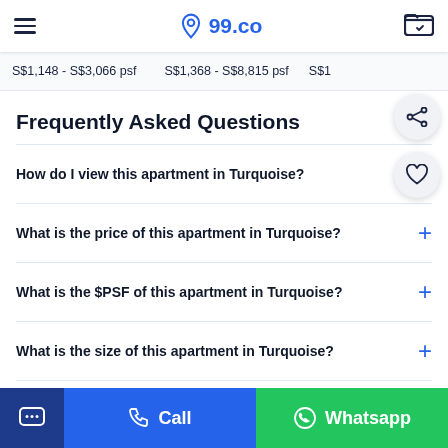99.co navigation bar with hamburger menu, logo, and folder icon
S$1,148 - S$3,066 psf   S$1,368 - S$8,815 psf   S$1
Frequently Asked Questions
How do I view this apartment in Turquoise?
What is the price of this apartment in Turquoise?
What is the $PSF of this apartment in Turquoise?
What is the size of this apartment in Turquoise?
Call   Whatsapp